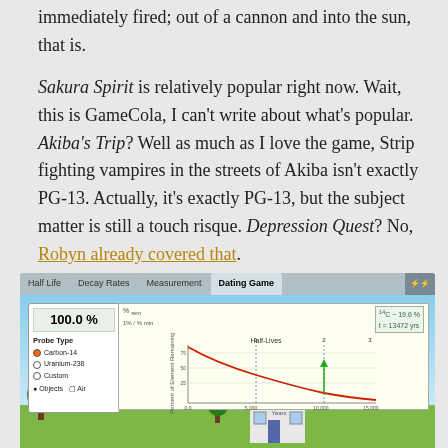immediately fired; out of a cannon and into the sun, that is. Sakura Spirit is relatively popular right now. Wait, this is GameCola, I can't write about what's popular. Akiba's Trip? Well as much as I love the game, Strip fighting vampires in the streets of Akiba isn't exactly PG-13. Actually, it's exactly PG-13, but the subject matter is still a touch risque. Depression Quest? No, Robyn already covered that.
How about something strange and magical?
Or how about the opposite of that: It's a Radioactive Dating Simulator!
[Figure (screenshot): Screenshot of a Radioactive Dating Simulator web application showing tabs (Half Life, Decay Rates, Measurement, Dating Game), a control panel with 100.0% display and Probe Type options (Carbon-14, Uranium-238, Custom), a decay curve chart on yellow background showing Percent of Element Remaining vs Years, with Half-Lives marked, and a game scene with sky, ground, trees, and a house.]